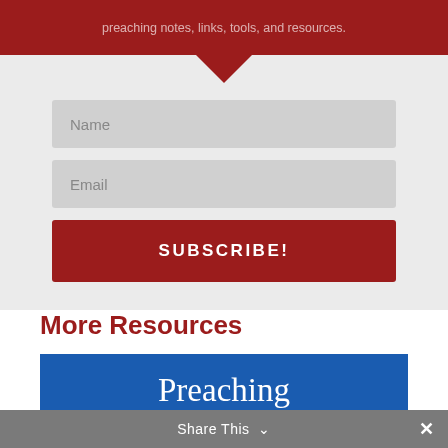preaching notes, links, tools, and resources.
[Figure (screenshot): Name input field (light gray background)]
[Figure (screenshot): Email input field (light gray background)]
[Figure (screenshot): Subscribe button (dark red, uppercase SUBSCRIBE!)]
More Resources
[Figure (illustration): Blue banner with text: Preaching FOR CHANGE]
Share This